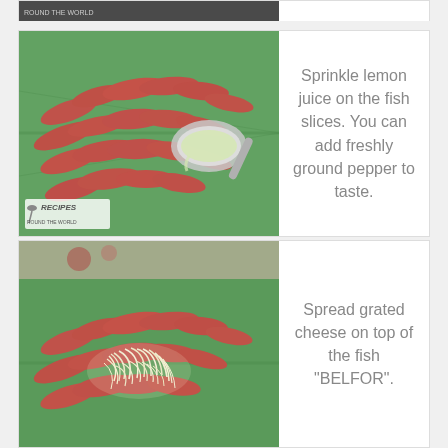[Figure (photo): Photo of raw fish slices arranged on a green banana leaf with a spoon pouring lemon juice over them. Watermark with 'RECIPES ROUND THE WORLD' logo at bottom left.]
Sprinkle lemon juice on the fish slices. You can add freshly ground pepper to taste.
[Figure (photo): Photo of raw fish slices on a green banana leaf with grated cheese spread on top.]
Spread grated cheese on top of the fish "BELFOR".